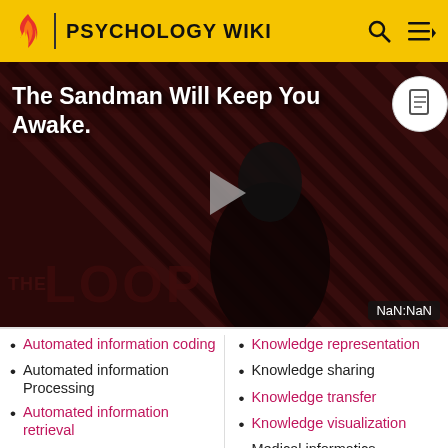PSYCHOLOGY WIKI
[Figure (screenshot): Video banner showing 'The Sandman Will Keep You Awake.' title with a dark-themed figure, diagonal stripe background, THE LOOP text overlay, play button, and NaN:NaN timestamp. Part of Psychology Wiki website.]
Automated information coding
Automated information Processing
Automated information retrieval
Knowledge representation
Knowledge sharing
Knowledge transfer
Knowledge visualization
Medical informatics